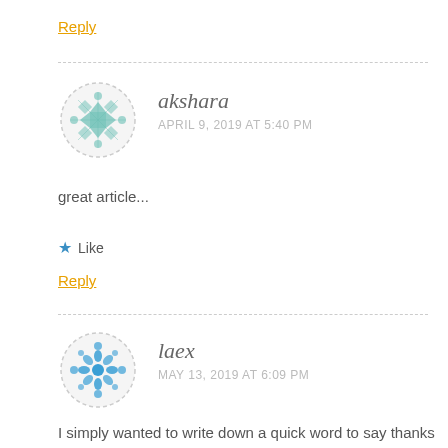Reply
[Figure (illustration): Circular avatar with teal/green geometric quilt-like pattern and dashed border for user akshara]
akshara
APRIL 9, 2019 AT 5:40 PM
great article...
★ Like
Reply
[Figure (illustration): Circular avatar with blue geometric flower/snowflake pattern and dashed border for user laex]
laex
MAY 13, 2019 AT 6:09 PM
I simply wanted to write down a quick word to say thanks